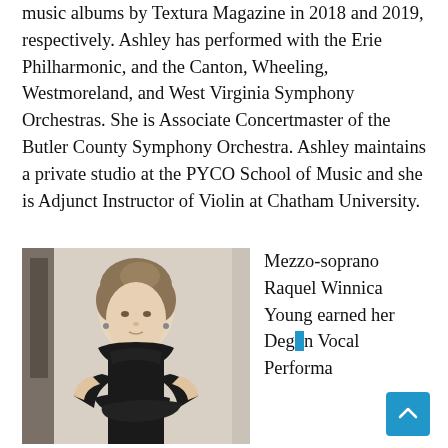music albums by Textura Magazine in 2018 and 2019, respectively. Ashley has performed with the Erie Philharmonic, and the Canton, Wheeling, Westmoreland, and West Virginia Symphony Orchestras. She is Associate Concertmaster of the Butler County Symphony Orchestra. Ashley maintains a private studio at the PYCO School of Music and she is Adjunct Instructor of Violin at Chatham University.
[Figure (photo): Portrait photo of a woman with brown hair pulled back, wearing a black turtleneck top, arms crossed, standing in front of a light curtained background.]
Mezzo-soprano Raquel Winnica Young earned her Degree in Vocal Performa...